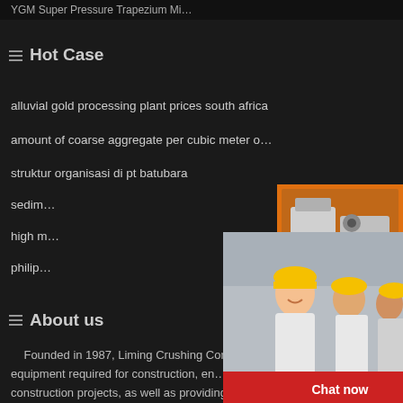YGM Super Pressure Trapezium Mi…
Hot Case
alluvial gold processing plant prices south africa
amount of coarse aggregate per cubic meter o…
struktur organisasi di pt batubara
sedim…
high m…
philip…
[Figure (screenshot): Live chat popup overlay with construction workers photo, LIVE CHAT heading in red italic, 'Click for a Free Consultation' text, and Chat now / Chat later buttons]
[Figure (photo): Right sidebar with orange background showing mining/crushing machinery images, Enjoy 3% discount, Click to Chat, Enquiry, and limingjlmofen@sina.com contact links]
About us
Founded in 1987, Liming Crushing Comp… mainly engaged in the R&D and manufacturin… scale equipment required for construction, en… transportation and other national infrastructure… construction projects, as well as providing technical